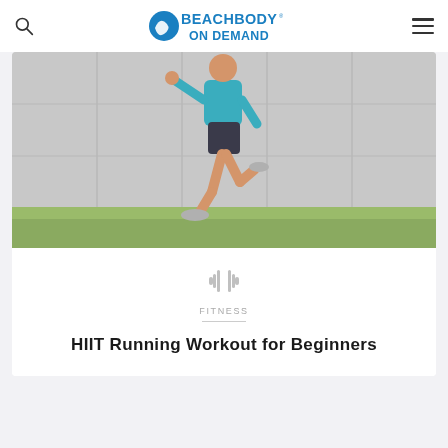Beachbody On Demand
[Figure (photo): Person running outdoors wearing teal shirt and dark shorts, against a concrete wall with grass at the bottom]
FITNESS
HIIT Running Workout for Beginners